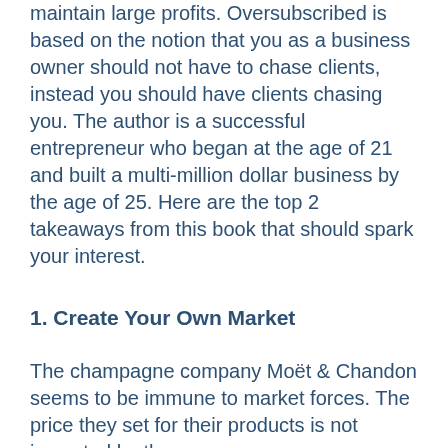maintain large profits. Oversubscribed is based on the notion that you as a business owner should not have to chase clients, instead you should have clients chasing you. The author is a successful entrepreneur who began at the age of 21 and built a multi-million dollar business by the age of 25. Here are the top 2 takeaways from this book that should spark your interest.
1. Create Your Own Market
The champagne company Moët & Chandon seems to be immune to market forces. The price they set for their products is not impacted by the